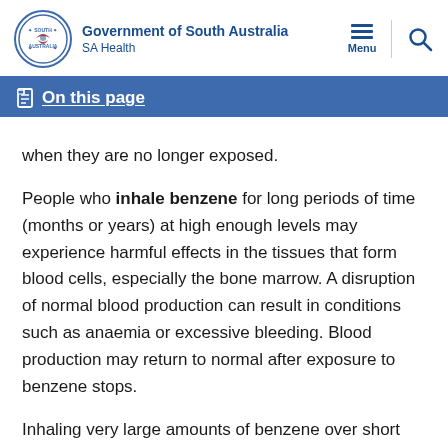Government of South Australia — SA Health
On this page
when they are no longer exposed.
People who inhale benzene for long periods of time (months or years) at high enough levels may experience harmful effects in the tissues that form blood cells, especially the bone marrow. A disruption of normal blood production can result in conditions such as anaemia or excessive bleeding. Blood production may return to normal after exposure to benzene stops.
Inhaling very large amounts of benzene over short periods of time (Extreme Acute Exposure) may additionally...